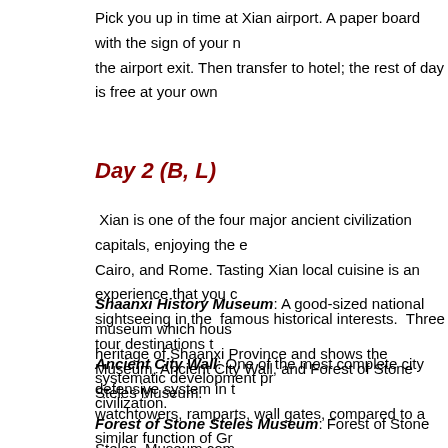Pick you up in time at Xian airport. A paper board with the sign of your name will be held at the airport exit. Then transfer to hotel; the rest of day is free at your own
Day 2 (B, L)
Xian is one of the four major ancient civilization capitals, enjoying the equal fame with Athens, Cairo, and Rome. Tasting Xian local cuisine is an experience that you cannot miss, as well as sightseeing in the famous historical interests. Three tour destinations today: Shaanxi History Museum, Ancient City Wall, and Forest of Stone Steles Museum.
Shaanxi History Museum: A good-sized national museum which houses the heritage of Shaanxi Province and shows the systematic development process of Chinese civilization.
Ancient City Wall: One of the most complete city defensive system in the world with watchtowers, ramparts, wall gates, compared to a similar function of Gr
Forest of Stone Steles Museum: Forest of Stone Steles Museum com